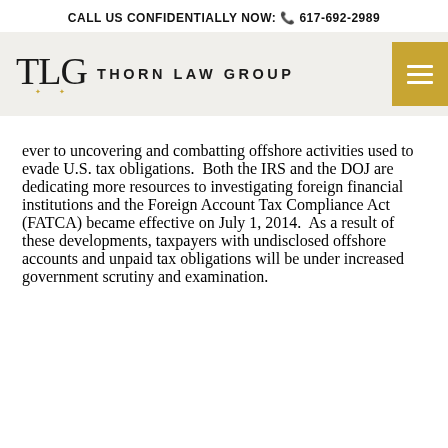CALL US CONFIDENTIALLY NOW: 617-692-2989
[Figure (logo): Thorn Law Group logo with TLG monogram and firm name]
ever to uncovering and combatting offshore activities used to evade U.S. tax obligations. Both the IRS and the DOJ are dedicating more resources to investigating foreign financial institutions and the Foreign Account Tax Compliance Act (FATCA) became effective on July 1, 2014. As a result of these developments, taxpayers with undisclosed offshore accounts and unpaid tax obligations will be under increased government scrutiny and examination.